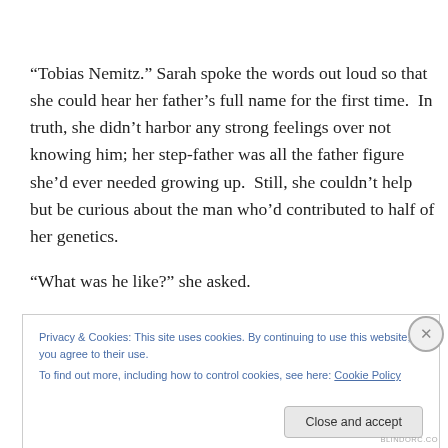“Tobias Nemitz.” Sarah spoke the words out loud so that she could hear her father’s full name for the first time.  In truth, she didn’t harbor any strong feelings over not knowing him; her step-father was all the father figure she’d ever needed growing up.  Still, she couldn’t help but be curious about the man who’d contributed to half of her genetics.
“What was he like?” she asked.
Privacy & Cookies: This site uses cookies. By continuing to use this website, you agree to their use.
To find out more, including how to control cookies, see here: Cookie Policy
Close and accept